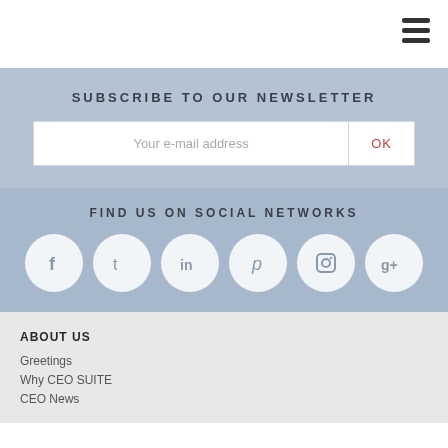[Figure (other): Hamburger menu icon (three horizontal bars) in top right corner]
SUBSCRIBE TO OUR NEWSLETTER
Your e-mail address
OK
FIND US ON SOCIAL NETWORKS
[Figure (other): Six social media icon circles: Facebook (f), Twitter (bird/t), LinkedIn (in), Pinterest (p), Instagram (camera), Google+ (g+)]
ABOUT US
Greetings
Why CEO SUITE
CEO News